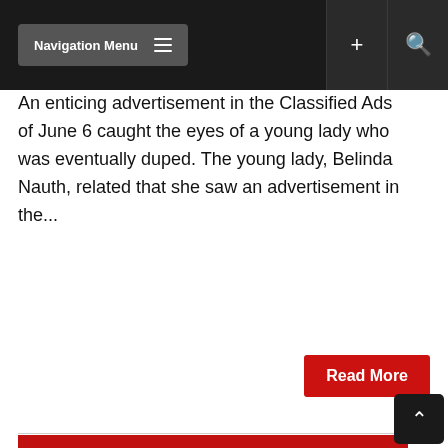Navigation Menu
An enticing advertisement in the Classified Ads of June 6 caught the eyes of a young lady who was eventually duped. The young lady, Belinda Nauth, related that she saw an advertisement in the...
Read More
[Figure (logo): Kaieteur News logo — large white serif K followed by AIETEUR on top row, NEWS on bottom row, on a red background]